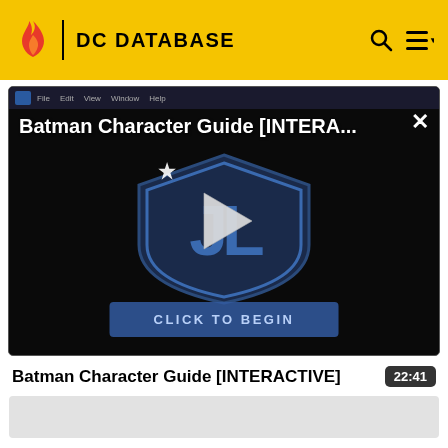DC DATABASE
[Figure (screenshot): Video player showing Batman Character Guide [INTERACTIVE] with a Justice League shield logo, play button overlay, and 'CLICK TO BEGIN' button on a dark background.]
Batman Character Guide [INTERACTIVE]
22:41
Gordon confronts a suspect who is connected to Galavan,